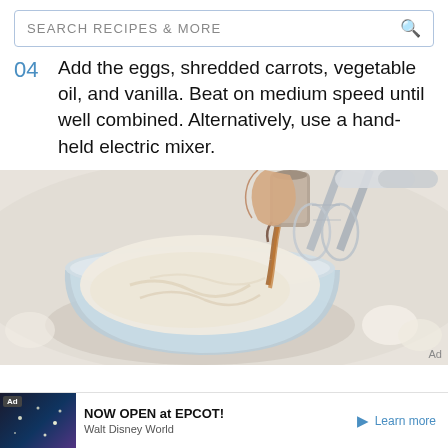SEARCH RECIPES & MORE
04  Add the eggs, shredded carrots, vegetable oil, and vanilla. Beat on medium speed until well combined. Alternatively, use a hand-held electric mixer.
[Figure (photo): Photo of a hand pouring vanilla extract from a measuring cup into a glass mixing bowl containing creamy white batter, with an electric hand mixer visible in the bowl.]
Ad  NOW OPEN at EPCOT!  Walt Disney World  Learn more